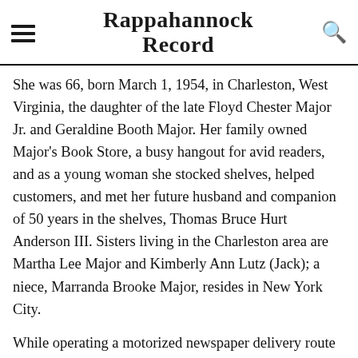Rappahannock Record
She was 66, born March 1, 1954, in Charleston, West Virginia, the daughter of the late Floyd Chester Major Jr. and Geraldine Booth Major. Her family owned Major's Book Store, a busy hangout for avid readers, and as a young woman she stocked shelves, helped customers, and met her future husband and companion of 50 years in the shelves, Thomas Bruce Hurt Anderson III. Sisters living in the Charleston area are Martha Lee Major and Kimberly Ann Lutz (Jack); a niece, Marranda Brooke Major, resides in New York City.
While operating a motorized newspaper delivery route with Bruce that served the hill country north of Charleston, her business skills and rugged spirit became apparent as the business expanded and prospered, rain, shine or snow.